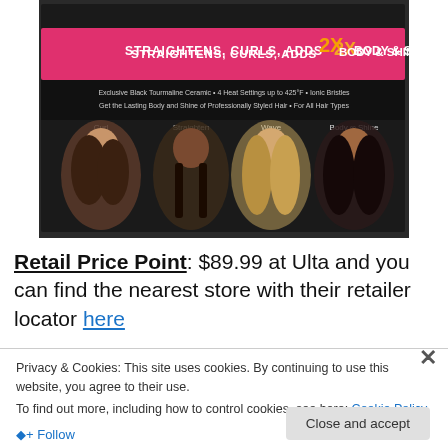[Figure (photo): Product packaging photo showing a hair styling tool box. Pink banner text reads 'STRAIGHTENS, CURLS, ADDS 2X BODY & SHINE'. Below are bullet points: Exclusive Black Tourmaline Ceramic, 4 Heat Settings up to 425°F, Ionic Bristles, Get the Lasting Body and Shine of Professionally Styled Hair, For All Hair Types. Four women demonstrate different styles: Curl, Straighten, Wave, Body & Shine.]
Retail Price Point: $89.99 at Ulta and you can find the nearest store with their retailer locator here
Privacy & Cookies: This site uses cookies. By continuing to use this website, you agree to their use.
To find out more, including how to control cookies, see here: Cookie Policy